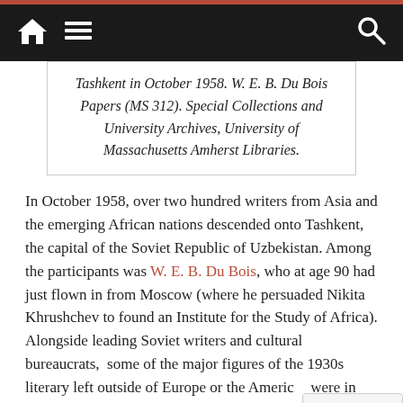Navigation bar with home, menu, and search icons
Tashkent in October 1958. W. E. B. Du Bois Papers (MS 312). Special Collections and University Archives, University of Massachusetts Amherst Libraries.
In October 1958, over two hundred writers from Asia and the emerging African nations descended onto Tashkent, the capital of the Soviet Republic of Uzbekistan. Among the participants was W. E. B. Du Bois, who at age 90 had just flown in from Moscow (where he persuaded Nikita Khrushchev to found an Institute for the Study of Africa). Alongside leading Soviet writers and cultural bureaucrats,  some of the major figures of the 1930s literary left outside of Europe or the Americas were in attendance: the Turkish modernist poet Na Hikmet and his Pakistani counterpart Faiz Ahmad Faiz,